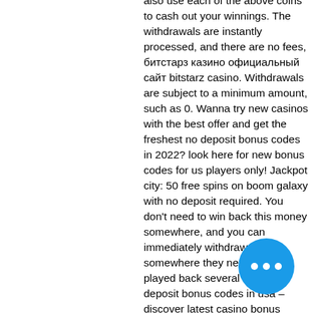also use each of the above coins to cash out your winnings. The withdrawals are instantly processed, and there are no fees, битстарз казино официальный сайт bitstarz casino. Withdrawals are subject to a minimum amount, such as 0. Wanna try new casinos with the best offer and get the freshest no deposit bonus codes in 2022? look here for new bonus codes for us players only! Jackpot city: 50 free spins on boom galaxy with no deposit required. You don't need to win back this money somewhere, and you can immediately withdraw it. And somewhere they need to be played back several times. No deposit bonus codes in usa – discover latest casino bonus codes. When it comes to online casinos, no deposit bonuses are often considered the best freebie you can snag. You don't to put any money down and you get Simply apply the no deposit code: